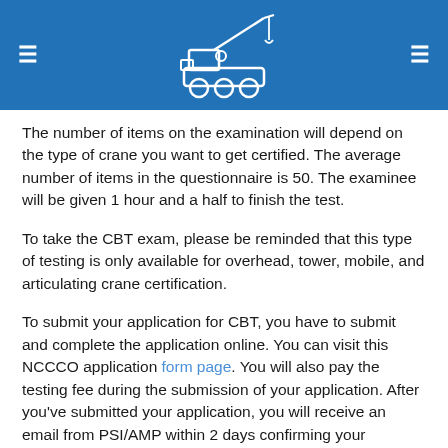Navigation header with crane logo
The number of items on the examination will depend on the type of crane you want to get certified. The average number of items in the questionnaire is 50. The examinee will be given 1 hour and a half to finish the test.
To take the CBT exam, please be reminded that this type of testing is only available for overhead, tower, mobile, and articulating crane certification.
To submit your application for CBT, you have to submit and complete the application online. You can visit this NCCCO application form page. You will also pay the testing fee during the submission of your application. After you've submitted your application, you will receive an email from PSI/AMP within 2 days confirming your application has been accepted. The email contains the instruction on how to make a testing appointment.
You will then have to set an appointment at a testing